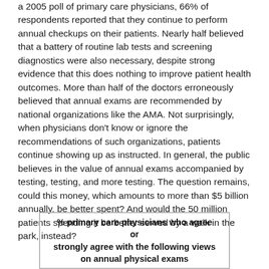a 2005 poll of primary care physicians, 66% of respondents reported that they continue to perform annual checkups on their patients. Nearly half believed that a battery of routine lab tests and screening diagnostics were also necessary, despite strong evidence that this does nothing to improve patient health outcomes. More than half of the doctors erroneously believed that annual exams are recommended by national organizations like the AMA. Not surprisingly, when physicians don't know or ignore the recommendations of such organizations, patients continue showing up as instructed. In general, the public believes in the value of annual exams accompanied by testing, testing, and more testing. The question remains, could this money, which amounts to more than $5 billion annually, be better spent? And would the 50 million patients spending it be better served by a walk in the park, instead?
[Figure (other): Box with title: % primary care physicians who agree or strongly agree with the following views on annual physical exams]